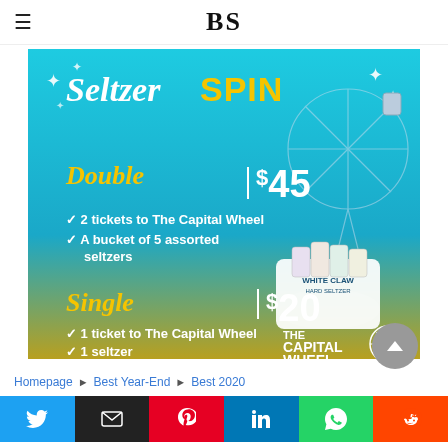BS
[Figure (infographic): Seltzer SPIN promotional ad for The Capital Wheel. Double package $45: 2 tickets to The Capital Wheel, A bucket of 5 assorted seltzers. Single package $20: 1 ticket to The Capital Wheel, 1 seltzer. Features White Claw hard seltzer bucket and Ferris wheel imagery.]
Homepage ▶ Best Year-End ▶ Best 2020